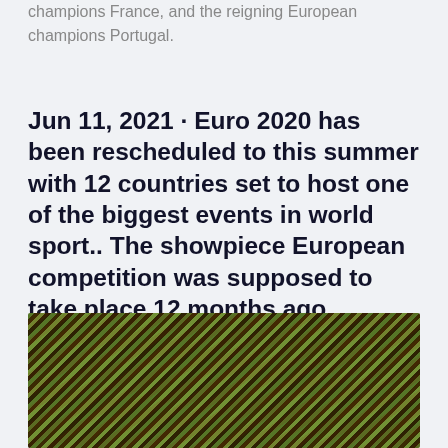champions France, and the reigning European champions Portugal.
Jun 11, 2021 · Euro 2020 has been rescheduled to this summer with 12 countries set to host one of the biggest events in world sport.. The showpiece European competition was supposed to take place 12 months ago
[Figure (photo): Aerial view of agricultural field with diagonal striped rows of crops in alternating green and brown/orange colors]